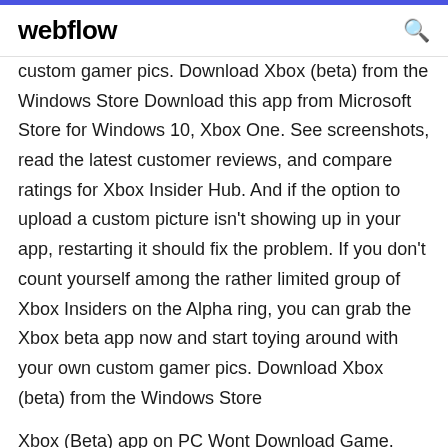webflow
custom gamer pics. Download Xbox (beta) from the Windows Store Download this app from Microsoft Store for Windows 10, Xbox One. See screenshots, read the latest customer reviews, and compare ratings for Xbox Insider Hub. And if the option to upload a custom picture isn't showing up in your app, restarting it should fix the problem. If you don't count yourself among the rather limited group of Xbox Insiders on the Alpha ring, you can grab the Xbox beta app now and start toying around with your own custom gamer pics. Download Xbox (beta) from the Windows Store
Xbox (Beta) app on PC Wont Download Game.